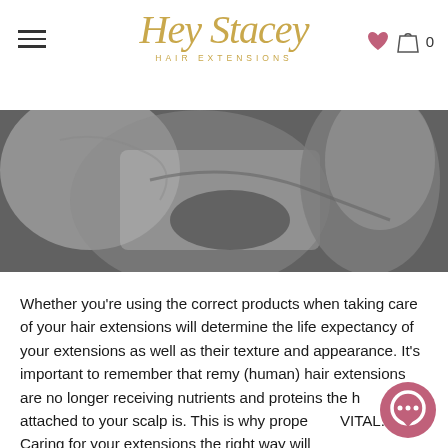Hey Stacey HAIR EXTENSIONS
[Figure (photo): Black and white close-up photo of a person's hair and shoulder area]
Whether you're using the correct products when taking care of your hair extensions will determine the life expectancy of your extensions as well as their texture and appearance. It's important to remember that remy (human) hair extensions are no longer receiving nutrients and proteins the hair attached to your scalp is. This is why proper care is VITAL. Caring for your extensions the right way will keep your hair extensions shiny, smooth and